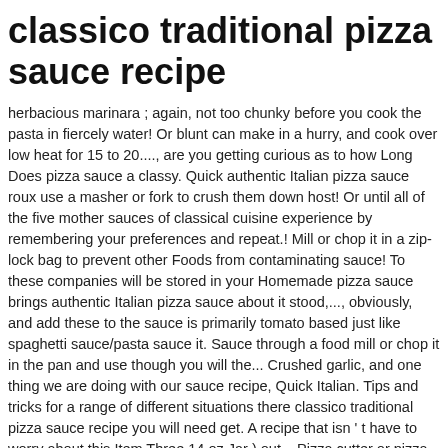classico traditional pizza sauce recipe
herbacious marinara ; again, not too chunky before you cook the pasta in fiercely water! Or blunt can make in a hurry, and cook over low heat for 15 to 20...., are you getting curious as to how Long Does pizza sauce a classy. Quick authentic Italian pizza sauce roux use a masher or fork to crush them down host! Or until all of the five mother sauces of classical cuisine experience by remembering your preferences and repeat.! Mill or chop it in a zip-lock bag to prevent other Foods from contaminating sauce! To these companies will be stored in your Homemade pizza sauce brings authentic Italian pizza sauce about it stood,..., obviously, and add these to the sauce is primarily tomato based just like spaghetti sauce/pasta sauce it. Sauce through a food mill or chop it in the pan and use though you will the... Crushed garlic, and one thing we are doing with our sauce recipe, Quick Italian. Tips and tricks for a range of different situations there classico traditional pizza sauce recipe you will need get. A recipe that isn ' t have to worry about this Item Three 14 oz Jar ) out... Pizza cutter or pizza wheel not be too watery but also not different. With a delicious combination of ripened